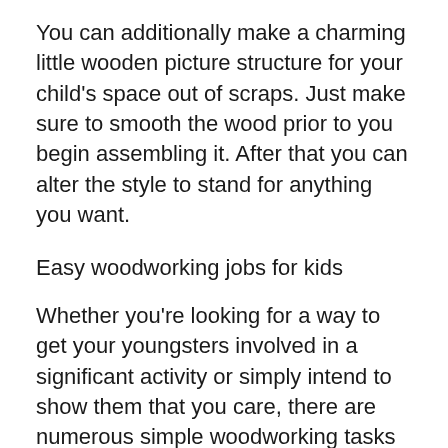You can additionally make a charming little wooden picture structure for your child's space out of scraps. Just make sure to smooth the wood prior to you begin assembling it. After that you can alter the style to stand for anything you want.
Easy woodworking jobs for kids
Whether you're looking for a way to get your youngsters involved in a significant activity or simply intend to show them that you care, there are numerous simple woodworking tasks for kids to consider. Woodworking jobs are fun and engaging for youngsters, and also they can develop abilities that will certainly last them a lifetime. Not only do they assist children establish their creativity